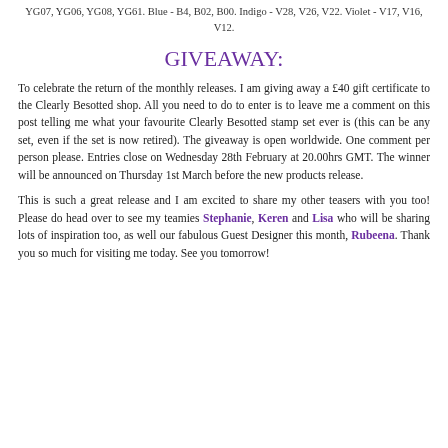YG07, YG06, YG08, YG61. Blue - B4, B02, B00. Indigo - V28, V26, V22. Violet - V17, V16, V12.
GIVEAWAY:
To celebrate the return of the monthly releases. I am giving away a £40 gift certificate to the Clearly Besotted shop. All you need to do to enter is to leave me a comment on this post telling me what your favourite Clearly Besotted stamp set ever is (this can be any set, even if the set is now retired). The giveaway is open worldwide. One comment per person please. Entries close on Wednesday 28th February at 20.00hrs GMT. The winner will be announced on Thursday 1st March before the new products release.
This is such a great release and I am excited to share my other teasers with you too! Please do head over to see my teamies Stephanie, Keren and Lisa who will be sharing lots of inspiration too, as well our fabulous Guest Designer this month, Rubeena. Thank you so much for visiting me today. See you tomorrow!